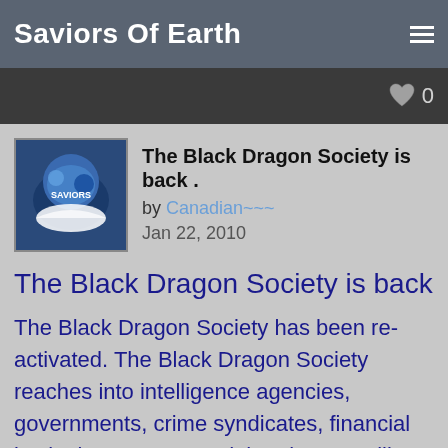Saviors Of Earth
The Black Dragon Society is back .
by Canadian~~~
Jan 22, 2010
The Black Dragon Society is back
The Black Dragon Society has been re-activated. The Black Dragon Society reaches into intelligence agencies, governments, crime syndicates, financial institutions etc. around the planet. Unlike other secret societies such as the Freemasons, the Black Dragon Society is not united by fear but rather by friendship, trust and shared values. It is actively seeking to overthrow the New World Order in order to promote a